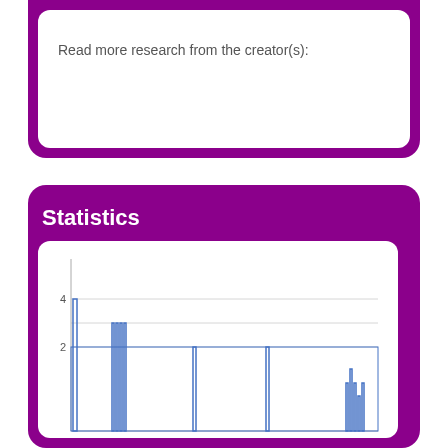Read more research from the creator(s):
Statistics
[Figure (bar-chart): Bar chart with y-axis values 2 and 4, showing multiple thin vertical bars of varying heights.]